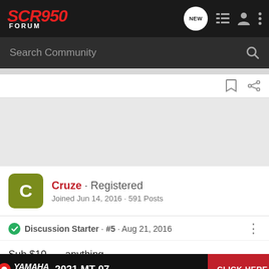SCR950 FORUM
Search Community
Cruze · Registered
Joined Jun 14, 2016 · 591 Posts
Discussion Starter · #5 · Aug 21, 2016
Sub $10... anything lower ?
[Figure (screenshot): Yamaha 2021 MT-07 advertisement banner with CLICK HERE button]